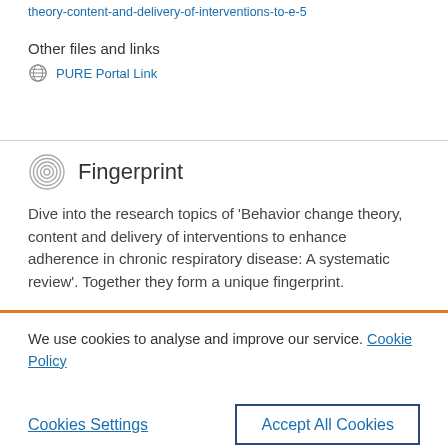theory-content-and-delivery-of-interventions-to-e-5
Other files and links
PURE Portal Link
Fingerprint
Dive into the research topics of 'Behavior change theory, content and delivery of interventions to enhance adherence in chronic respiratory disease: A systematic review'. Together they form a unique fingerprint.
We use cookies to analyse and improve our service. Cookie Policy
Cookies Settings
Accept All Cookies